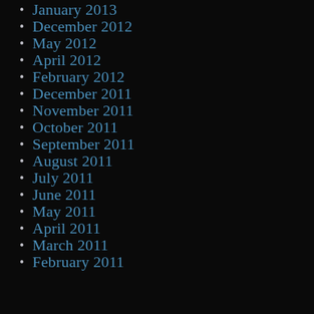January 2013
December 2012
May 2012
April 2012
February 2012
December 2011
November 2011
October 2011
September 2011
August 2011
July 2011
June 2011
May 2011
April 2011
March 2011
February 2011